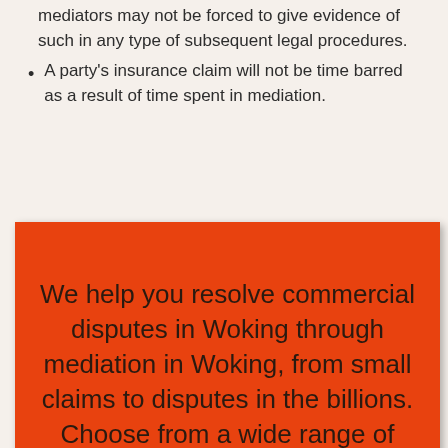mediators may not be forced to give evidence of such in any type of subsequent legal procedures.
A party's insurance claim will not be time barred as a result of time spent in mediation.
We help you resolve commercial disputes in Woking through mediation in Woking, from small claims to disputes in the billions. Choose from a wide range of trained mediators.